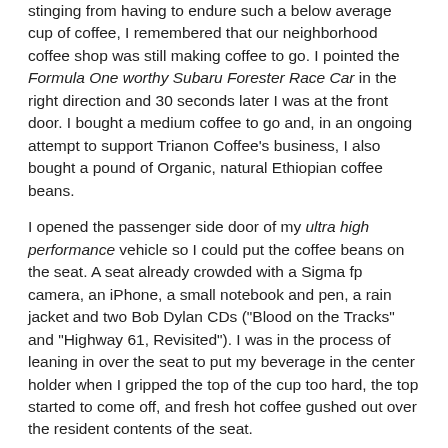stinging from having to endure such a below average cup of coffee, I remembered that our neighborhood coffee shop was still making coffee to go. I pointed the Formula One worthy Subaru Forester Race Car in the right direction and 30 seconds later I was at the front door. I bought a medium coffee to go and, in an ongoing attempt to support Trianon Coffee's business, I also bought a pound of Organic, natural Ethiopian coffee beans.
I opened the passenger side door of my ultra high performance vehicle so I could put the coffee beans on the seat. A seat already crowded with a Sigma fp camera, an iPhone, a small notebook and pen, a rain jacket and two Bob Dylan CDs ("Blood on the Tracks" and "Highway 61, Revisited"). I was in the process of leaning in over the seat to put my beverage in the center holder when I gripped the top of the cup too hard, the top started to come off, and fresh hot coffee gushed out over the resident contents of the seat.
Grrrr. Sigh. I had a swim towel with me and started mopping stuff off. It was raining so I put the Sigma fp on the hood of the car to let the mist and gentle drops clean off the coffee. I